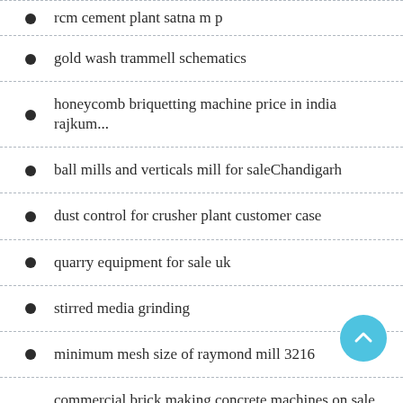rcm cement plant satna m p
gold wash trammell schematics
honeycomb briquetting machine price in india rajkum...
ball mills and verticals mill for saleChandigarh
dust control for crusher plant customer case
quarry equipment for sale uk
stirred media grinding
minimum mesh size of raymond mill 3216
commercial brick making concrete machines on sale i...